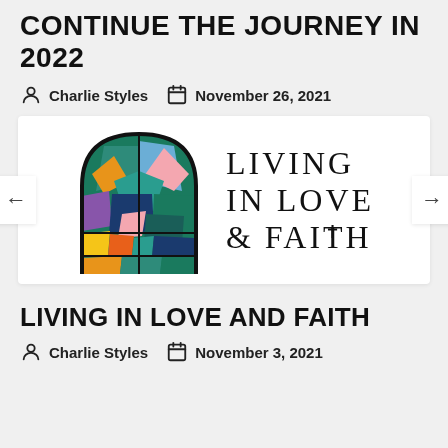CONTINUE THE JOURNEY IN 2022
Charlie Styles   November 26, 2021
[Figure (logo): Living in Love & Faith logo: stained-glass arch image on left, text 'LIVING IN LOVE & FAITH' on right with navigation arrows]
LIVING IN LOVE AND FAITH
Charlie Styles   November 3, 2021